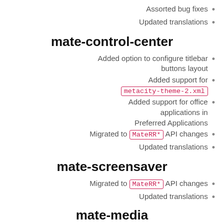Assorted bug fixes
Updated translations
mate-control-center
Added option to configure titlebar buttons layout
Added support for metacity-theme-2.xml
Added support for office applications in Preferred Applications
Migrated to MateRR* API changes
Updated translations
mate-screensaver
Migrated to MateRR* API changes
Updated translations
mate-media
Removed PulseAudio dependency
Removed gst-mixer and